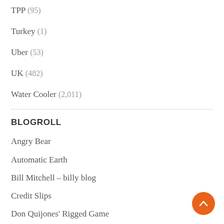TPP (95)
Turkey (1)
Uber (53)
UK (482)
Water Cooler (2,011)
BLOGROLL
Angry Bear
Automatic Earth
Bill Mitchell – billy blog
Credit Slips
Don Quijones' Rigged Game
Econbrowser
Economic Populist
Ed Harrison
Eyes on Trade
Gaius Publius